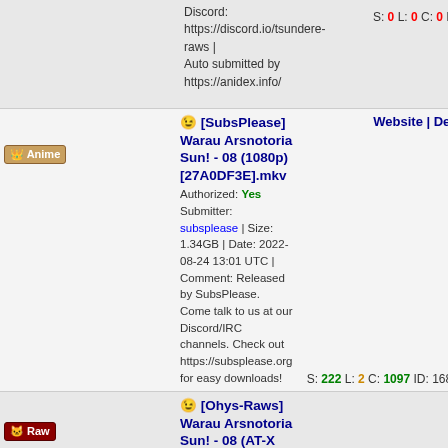Discord: https://discord.io/tsundere-raws | Auto submitted by https://anidex.info/ | S: 0 L: 0 C: 0 ID: 16895
[SubsPlease] Warau Arsnotoria Sun! - 08 (1080p) [27A0DF3E].mkv | Authorized: Yes Submitter: subsplease | Size: 1.34GB | Date: 2022-08-24 13:01 UTC | Comment: Released by SubsPlease. Come talk to us at our Discord/IRC channels. Check out https://subsplease.org for easy downloads! | S: 222 L: 2 C: 1097 ID: 168859
[Ohys-Raws] Warau Arsnotoria Sun! - 08 (AT-X 1280x720 x264 AAC).mp4 | Authorized: Yes Submitter: Ohys | Size: 302.29MB | Date: 2022-08-24 13:01 UTC | Comment: https://discord.gg/EUvzwzx | S: 90 L: 7 C: 2051 ID: 168853
[SubsPlease] Warau Arsnotoria Sun! - 08 (720p) [4F3507F6].mkv | Authorized: Yes Submitter: subsplease | Size: 701.15MB | Date: 2022-08-24 13:01 UTC | Comment: Released by SubsPlease. Come talk to us at our Discord/IRC channels. Check out https://subsplease.org for easy downloads! | S: 92 L: 3 C: 798 ID: 16885
[SubsPlease] Warau ...